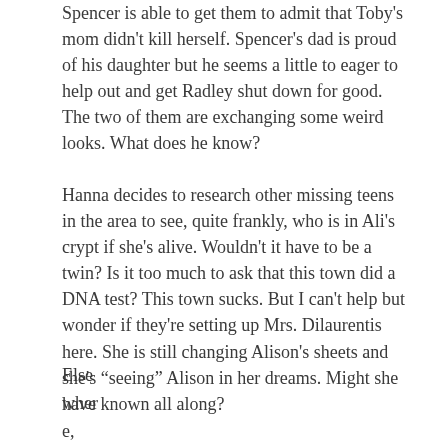Spencer is able to get them to admit that Toby's mom didn't kill herself. Spencer's dad is proud of his daughter but he seems a little to eager to help out and get Radley shut down for good. The two of them are exchanging some weird looks. What does he know?
Hanna decides to research other missing teens in the area to see, quite frankly, who is in Ali's crypt if she's alive. Wouldn't it have to be a twin? Is it too much to ask that this town did a DNA test? This town sucks. But I can't help but wonder if they're setting up Mrs. Dilaurentis here. She is still changing Alison's sheets and she's “seeing” Alison in her dreams. Might she have known all along?
Else
wher
e,
Hann